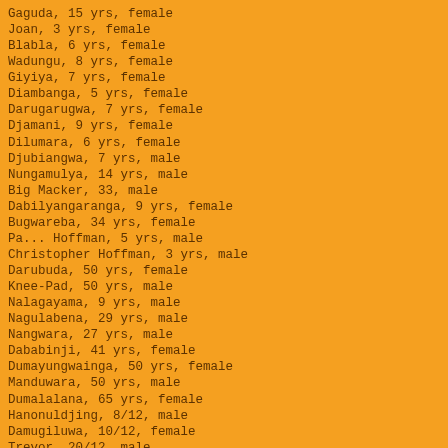Gaguda, 15 yrs, female
Joan, 3 yrs, female
Blabla, 6 yrs, female
Wadungu, 8 yrs, female
Giyiya, 7 yrs, female
Diambanga, 5 yrs, female
Darugarugwa, 7 yrs, female
Djamani, 9 yrs, female
Dilumara, 6 yrs, female
Djubiangwa, 7 yrs, male
Nungamulya, 14 yrs, male
Big Macker, 33, male
Dabilyangaranga, 9 yrs, female
Bugwareba, 34 yrs, female
Pa... Hoffman, 5 yrs, male
Christopher Hoffman, 3 yrs, male
Darubuda, 50 yrs, female
Knee-Pad, 50 yrs, male
Nalagayama, 9 yrs, male
Nagulabena, 29 yrs, male
Nangwara, 27 yrs, male
Dababinji, 41 yrs, female
Dumayungwainga, 50 yrs, female
Manduwara, 50 yrs, male
Dumalalana, 65 yrs, female
Hanonuldjing, 8/12, male
Damugiluwa, 10/12, female
Trevor, 20/12, male
Arthurm 2 yrs, male
Alan Blitner, 2 yrs, male
Rosalind, 20/12, female
Damiyeingbawiyia, 14/12, female